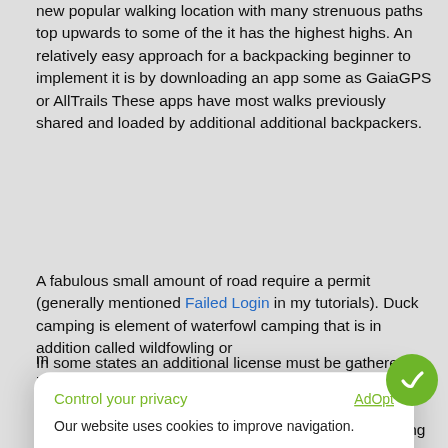new popular walking location with many strenuous paths top upwards to some of the it has the highest highs. An relatively easy approach for a backpacking beginner to implement it is by downloading an app some as GaiaGPS or AllTrails These apps have most walks previously shared and loaded by additional additional backpackers.
A fabulous small amount of road require a permit (generally mentioned Failed Login in my tutorials). Duck camping is element of waterfowl camping that is in addition called wildfowling or m...
[Figure (screenshot): Cookie consent modal dialog with 'Control your privacy' heading in green, 'AdOpt' link top right, body text 'Our website uses cookies to improve navigation.', links for 'Privacy Policy' and 'My options' in green, and two buttons: 'DO NOT SELL' and 'ACCEPT' (green pill button).]
In some states an additional license must be gathered to hunt certain animals whose populations are of concern to the state. You may want to start off by hiking a trail without the weight of a full backpack. Strong, long lasting mounts, suitable of rapidly sticking with the hounds in excess of harsh yard, were trained